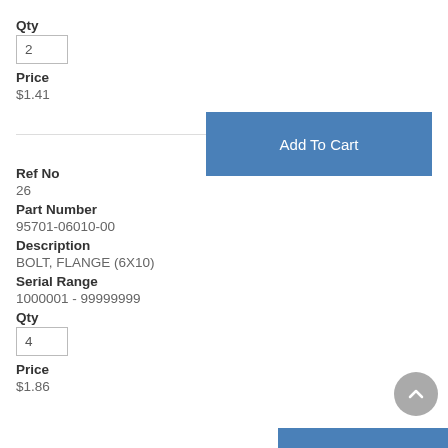Qty
2
Price
$1.41
Add To Cart
Ref No
26
Part Number
95701-06010-00
Description
BOLT, FLANGE (6X10)
Serial Range
1000001 - 99999999
Qty
4
Price
$1.86